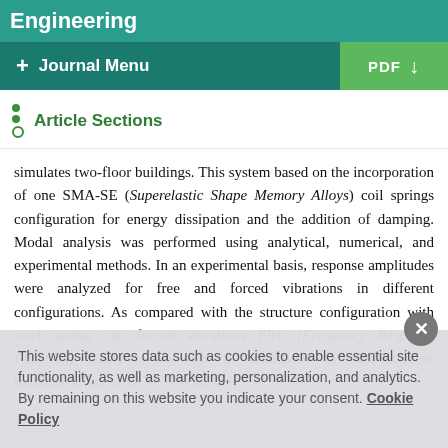Engineering
+ Journal Menu | PDF
Article Sections
simulates two-floor buildings. This system based on the incorporation of one SMA-SE (Superelastic Shape Memory Alloys) coil springs configuration for energy dissipation and the addition of damping. Modal analysis was performed using analytical, numerical, and experimental methods. In an experimental basis, response amplitudes were analyzed for free and forced vibrations in different configurations. As compared with the structure configuration with steel spring, the forced vibrations FRF (Frequency Response Function) analysis showed a reduction in displacement transmissibility of up to 51% for the
This website stores data such as cookies to enable essential site functionality, as well as marketing, personalization, and analytics. By remaining on this website you indicate your consent. Cookie Policy